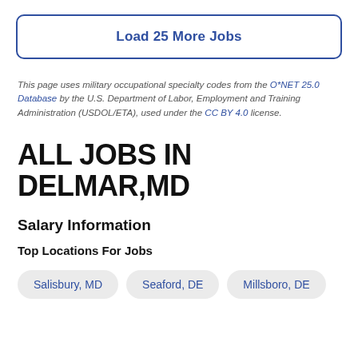Load 25 More Jobs
This page uses military occupational specialty codes from the O*NET 25.0 Database by the U.S. Department of Labor, Employment and Training Administration (USDOL/ETA), used under the CC BY 4.0 license.
ALL JOBS IN DELMAR,MD
Salary Information
Top Locations For Jobs
Salisbury, MD
Seaford, DE
Millsboro, DE